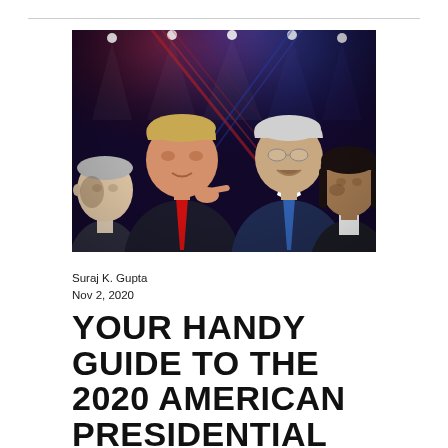[Figure (photo): Photo showing four political figures facing each other from left and right: Mike Pence, Donald Trump, Joe Biden, and Kamala Harris, set against a dramatic stage lighting backdrop with blue and red lights]
Suraj K. Gupta
Nov 2, 2020
YOUR HANDY GUIDE TO THE 2020 AMERICAN PRESIDENTIAL ELECTION